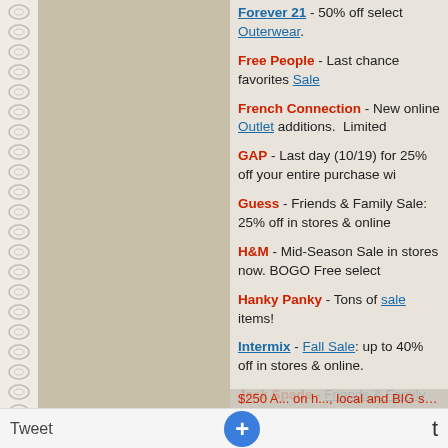Forever 21 - 50% off select Outerwear.
Free People - Last chance favorites Sale
French Connection - New online Outlet additions.  Limited
GAP - Last day (10/19) for 25% off your entire purchase wi
Guess - Friends & Family Sale: 25% off in stores & online
H&M - Mid-Season Sale in stores now. BOGO Free select
Hanky Panky - Tons of sale items!
Intermix - Fall Sale: up to 40% off in stores & online.
Jack Spade - Friends & Family Sale: 30% off Everything for JSFF2012
J.Crew - Free shipping on all orders with Code: FREESHIP website.
Juicy Couture - Fall Mystery Money Card wit purchase thr
Tweet  +  t